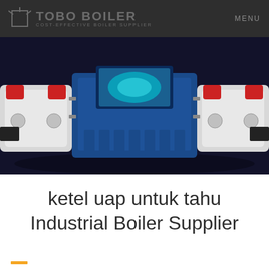TOBO BOILER - COST-EFFECTIVE BOILER SUPPLIER | MENU
[Figure (photo): Industrial boiler equipment — a blue and white boiler unit with red components, mounted on a dark background, shown from the front/side angle]
ketel uap untuk tahu
Industrial Boiler Supplier